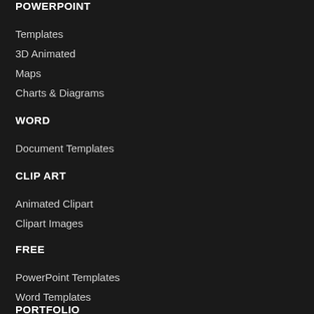POWERPOINT
Templates
3D Animated
Maps
Charts & Diagrams
WORD
Document Templates
CLIP ART
Animated Clipart
Clipart Images
FREE
PowerPoint Templates
Word Templates
PORTFOLIO